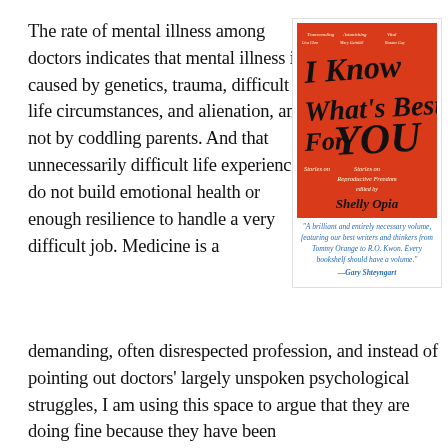The rate of mental illness among doctors indicates that mental illness is caused by genetics, trauma, difficult life circumstances, and alienation, and not by coddling parents. And that unnecessarily difficult life experiences do not build emotional health or enough resilience to handle a very difficult job. Medicine is a
[Figure (illustration): Book cover of 'I Know What's Best For You: Stories on Reproductive Freedom' edited by Shelly Oria. Red background with large handwritten-style black title text and author name.]
"A brilliant and entirely necessary volume, featuring our best writers and thinkers from Tommy Orange to R.O. Kwon. Every bookshelf should have a volume." —Gary Shteyngart
demanding, often disrespected profession, and instead of pointing out doctors' largely unspoken psychological struggles, I am using this space to argue that they are doing fine because they have been